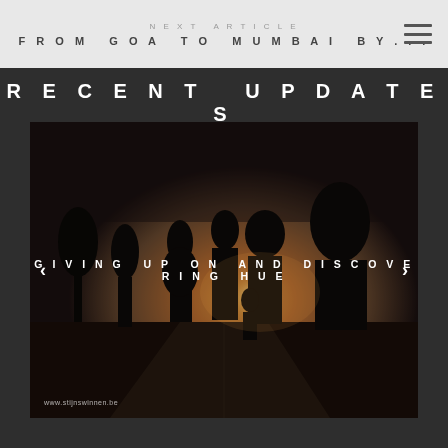NEXT ARTICLE / FROM GOA TO MUMBAI BY...
RECENT UPDATES
[Figure (photo): Silhouette of people standing on a path at sunset/dusk, with sun visible through the group. Dark atmospheric image. Caption overlay reads: GIVING UP ON AND DISCOVERING HUE. Watermark: www.stijnswinnen.be. Navigation arrows on left and right.]